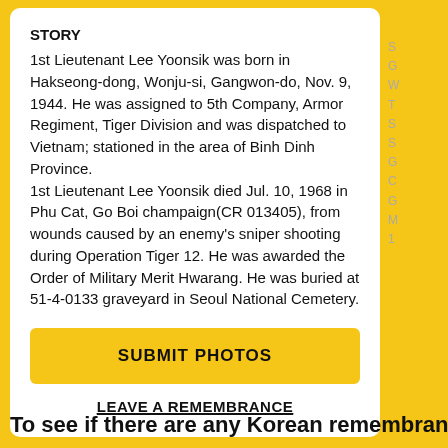STORY
1st Lieutenant Lee Yoonsik was born in Hakseong-dong, Wonju-si, Gangwon-do, Nov. 9, 1944. He was assigned to 5th Company, Armor Regiment, Tiger Division and was dispatched to Vietnam; stationed in the area of Binh Dinh Province. 1st Lieutenant Lee Yoonsik died Jul. 10, 1968 in Phu Cat, Go Boi champaign(CR 013405), from wounds caused by an enemy's sniper shooting during Operation Tiger 12. He was awarded the Order of Military Merit Hwarang. He was buried at 51-4-0133 graveyard in Seoul National Cemetery.
SUBMIT PHOTOS
LEAVE A REMEMBRANCE
To see if there are any Korean remembrances or